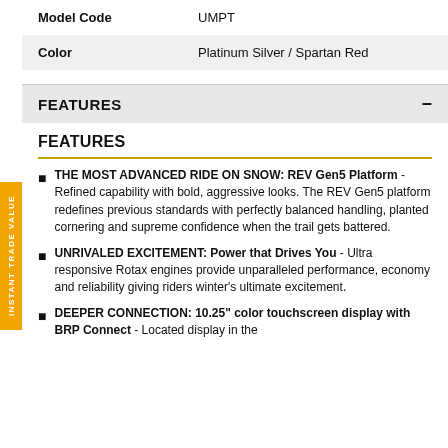| Field | Value |
| --- | --- |
| Model Code | UMPT |
| Color | Platinum Silver / Spartan Red |
FEATURES
FEATURES
THE MOST ADVANCED RIDE ON SNOW: REV Gen5 Platform - Refined capability with bold, aggressive looks. The REV Gen5 platform redefines previous standards with perfectly balanced handling, planted cornering and supreme confidence when the trail gets battered.
UNRIVALED EXCITEMENT: Power that Drives You - Ultra responsive Rotax engines provide unparalleled performance, economy and reliability giving riders winter's ultimate excitement.
DEEPER CONNECTION: 10.25" color touchscreen display with BRP Connect - Located display in the